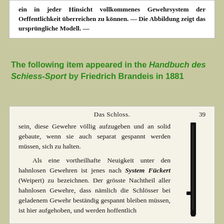ein in jeder Hinsicht vollkommenes Gewehrsystem der Oeffentlichkeit überreichen zu können. — Die Abbildung zeigt das ursprüngliche Modell. —
The following item appeared in the Handbuch des Schiess-Sport by Friedrich Brandeis in 1881
Das Schloss.
sein, diese Gewehre völlig aufzugeben und an solid gebaute, wenn sie auch separat gespannt werden müssen, sich zu halten.

Als eine vortheilhafte Neuigkeit unter den hahnlosen Gewehren ist jenes nach System Fückert (Weipert) zu bezeichnen. Der grösste Nachtheil aller hahnlosen Gewehre, dass nämlich die Schlösser bei geladenem Gewehr beständig gespannt bleiben müssen, ist hier aufgehoben, und werden hoffentlich
[Figure (illustration): Illustration of a rifle barrel or rod shown vertically on the right side of the page]